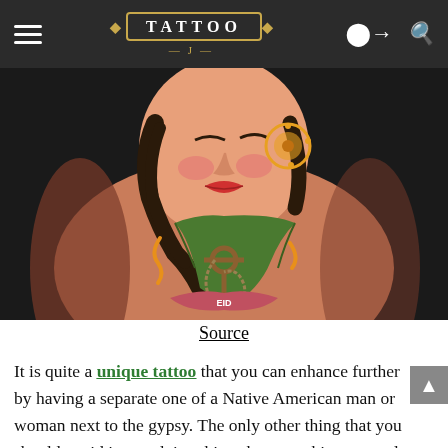TATTOO J
[Figure (photo): A colorful tattoo on an arm depicting a gypsy woman's face with dark hair, red lips, wearing decorative earrings, with an anchor and rope design below, in a traditional American tattoo style with vivid colors on dark background.]
Source
It is quite a unique tattoo that you can enhance further by having a separate one of a Native American man or woman next to the gypsy. The only other thing that you should avoid is overdoing things because this can result in an awkward and a difficult to understand tattoo